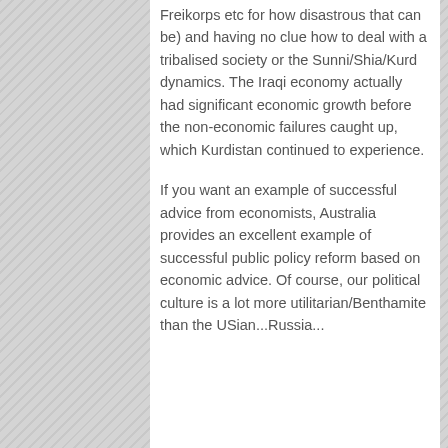Freikorps etc for how disastrous that can be) and having no clue how to deal with a tribalised society or the Sunni/Shia/Kurd dynamics. The Iraqi economy actually had significant economic growth before the non-economic failures caught up, which Kurdistan continued to experience.

If you want an example of successful advice from economists, Australia provides an excellent example of successful public policy reform based on economic advice. Of course, our political culture is a lot more utilitarian/Benthamite than the USian...Russia...